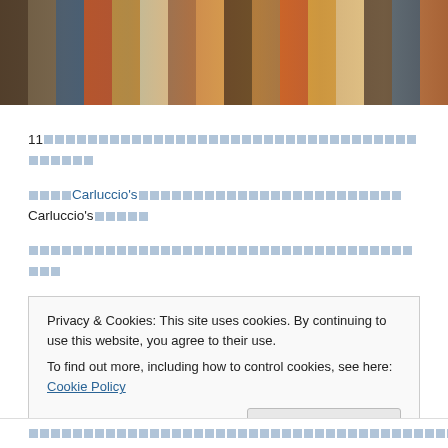[Figure (photo): Photo of stacked boxes and packages on shelves, various colors including brown, blue, orange and gold.]
11 [squares] Carluccio's [squares] Carluccio's [squares] Panettone [squares] Pandoro [squares] Amaretti [squares] [link squares]
Privacy & Cookies: This site uses cookies. By continuing to use this website, you agree to their use. To find out more, including how to control cookies, see here: Cookie Policy
[squares] [link squares]